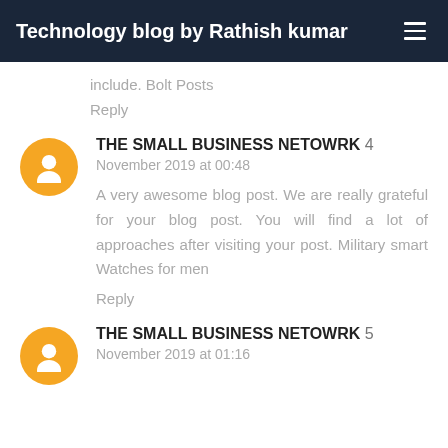Technology blog by Rathish kumar
include. Bolt Posts
Reply
THE SMALL BUSINESS NETOWRK 4 November 2019 at 00:48
A very awesome blog post. We are really grateful for your blog post. You will find a lot of approaches after visiting your post. Military smart Watches for men
Reply
THE SMALL BUSINESS NETOWRK 5 November 2019 at 01:16